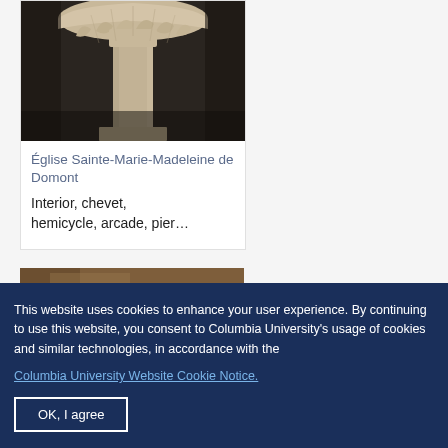[Figure (photo): Close-up photograph of a Romanesque stone column capital with carved decorative foliage details, light beige/cream colored stone]
Église Sainte-Marie-Madeleine de Domont
Interior, chevet, hemicycle, arcade, pier…
[Figure (photo): Partial view of another architectural photograph, brownish toned]
This website uses cookies to enhance your user experience. By continuing to use this website, you consent to Columbia University's usage of cookies and similar technologies, in accordance with the
Columbia University Website Cookie Notice.
OK, I agree